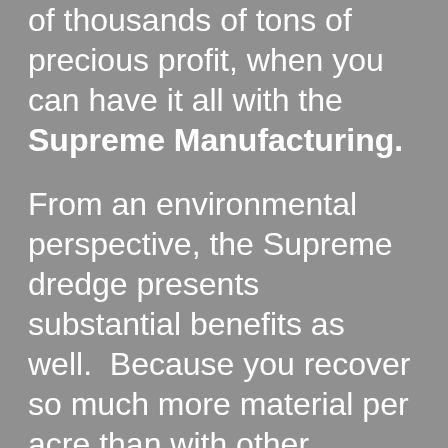of thousands of tons of precious profit, when you can have it all with the Supreme Manufacturing.
From an environmental perspective, the Supreme dredge presents substantial benefits as well. Because you recover so much more material per acre than with other methods, you in turn disturb far few acres in order to end up with your desired volume. The dredge and it's accompanying conveyors can be powered either using generators or a commercial